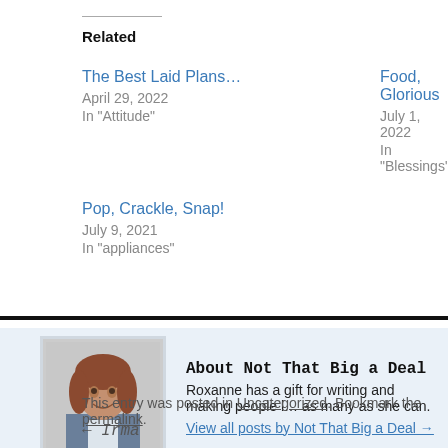Related
The Best Laid Plans…
April 29, 2022
In "Attitude"
Food, Glorious
July 1, 2022
In "Blessings"
Pop, Crackle, Snap!
July 9, 2021
In "appliances"
[Figure (photo): Author photo of Roxanne, a woman with reddish-brown hair]
About Not That Big a Deal
Roxanne has a gift for writing and making people l… as many as she can.
View all posts by Not That Big a Deal →
This entry was posted in Uncategorized. Bookmark the permalink.
← Irma